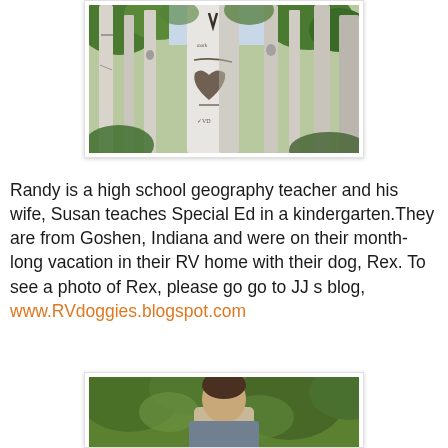[Figure (photo): Photo of aspen tree trunks with white bark and dark markings, surrounded by green foliage]
Randy is a high school geography teacher and his wife, Susan teaches Special Ed in a kindergarten.They are from Goshen, Indiana and were on their month-long vacation in their RV home with their dog, Rex. To see a photo of Rex, please go go to JJ s blog, www.RVdoggies.blogspot.com
[Figure (photo): Photo of a person outdoors surrounded by green trees and foliage]